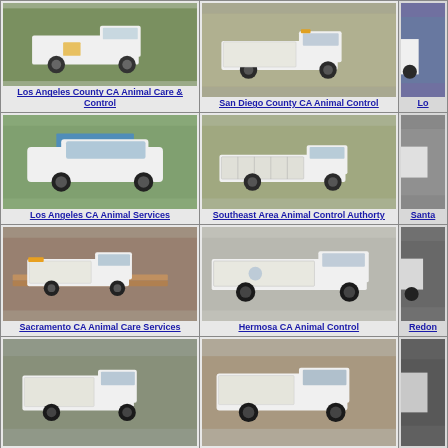[Figure (photo): White pickup truck with utility box - Los Angeles County CA Animal Care & Control vehicle]
Los Angeles County CA Animal Care & Control
[Figure (photo): White pickup truck with utility box - San Diego County CA Animal Control vehicle]
San Diego County CA Animal Control
[Figure (photo): Partial view of another animal control vehicle]
[Figure (photo): White SUV - Los Angeles CA Animal Services vehicle]
Los Angeles CA Animal Services
[Figure (photo): White pickup truck with open utility bed - Southeast Area Animal Control Authority vehicle]
Southeast Area Animal Control Authorty
[Figure (photo): Partial view - Santa animal control vehicle]
Santa
[Figure (photo): White pickup truck with enclosed utility box - Sacramento CA Animal Care Services vehicle]
Sacramento CA Animal Care Services
[Figure (photo): White single cab pickup truck with utility box - Hermosa CA Animal Control vehicle]
Hermosa CA Animal Control
[Figure (photo): Partial view - Redondo animal control vehicle]
Redon
[Figure (photo): White pickup truck with utility box - bottom row left animal control vehicle]
[Figure (photo): White pickup truck with utility box - bottom row center animal control vehicle]
[Figure (photo): Partial view - bottom row right animal control vehicle]